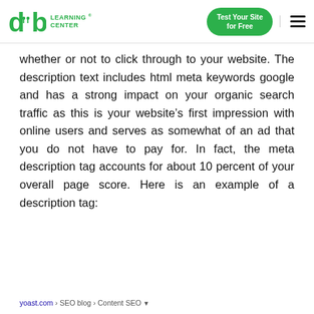diib LEARNING CENTER | Test Your Site for Free
whether or not to click through to your website. The description text includes html meta keywords google and has a strong impact on your organic search traffic as this is your website's first impression with online users and serves as somewhat of an ad that you do not have to pay for. In fact, the meta description tag accounts for about 10 percent of your overall page score. Here is an example of a description tag:
yoast.com › SEO blog › Content SEO